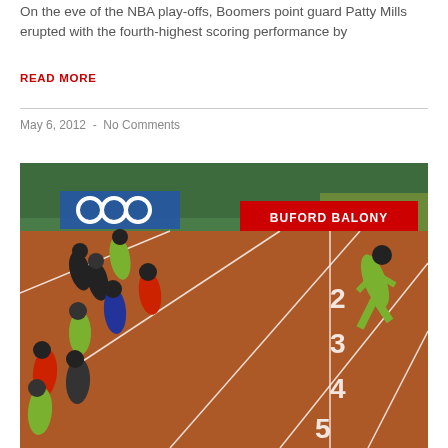On the eve of the NBA play-offs, Boomers point guard Patty Mills erupted with the fourth-highest scoring performance by
READ MORE
May 6, 2012  -  No Comments
[Figure (photo): Olympic 100m sprint finish photo showing multiple runners on a red track with lane numbers 2-8 visible. One runner in yellow-green Jamaican kit is ahead on the right. A red label overlay reads 'BUFORD BALONY'. Olympic rings banner visible in background.]